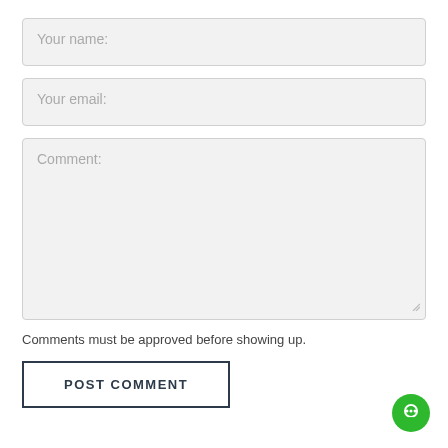Your name:
Your email:
Comment:
Comments must be approved before showing up.
POST COMMENT